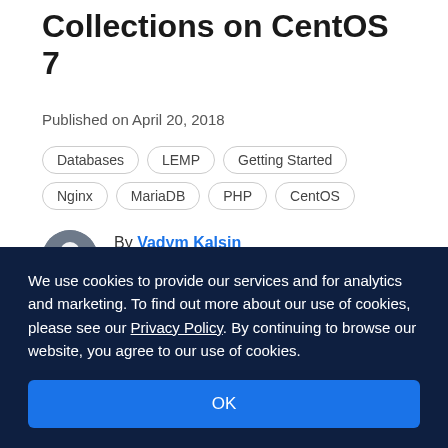Collections on CentOS 7
Published on April 20, 2018
Databases
LEMP
Getting Started
Nginx
MariaDB
PHP
CentOS
By Vadym Kalsin
Developer and author at DigitalOcean.
We use cookies to provide our services and for analytics and marketing. To find out more about our use of cookies, please see our Privacy Policy. By continuing to browse our website, you agree to our use of cookies.
OK